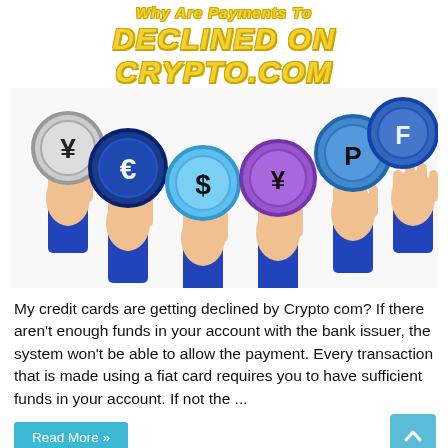DECLINED ON CRYPTO.COM
[Figure (illustration): Illustration of multiple hands holding up colorful coins with currency symbols (yen, euro, dollar, yuan, pound, franc) on them, with blue sleeves.]
My credit cards are getting declined by Crypto com? If there aren't enough funds in your account with the bank issuer, the system won't be able to allow the payment. Every transaction that is made using a fiat card requires you to have sufficient funds in your account. If not the ...